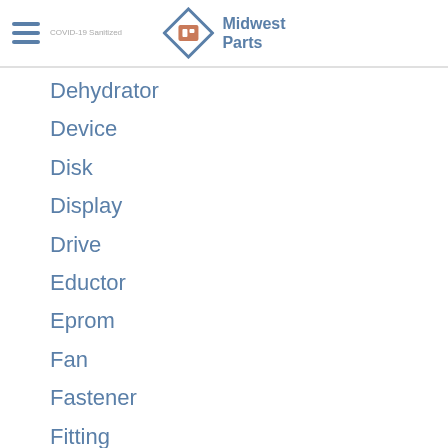Midwest Parts
Dehydrator
Device
Disk
Display
Drive
Eductor
Eprom
Fan
Fastener
Fitting
Fuse
Gasket